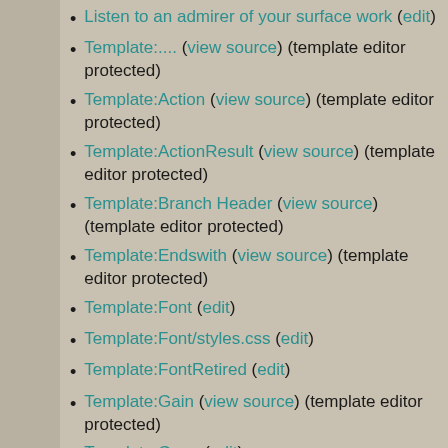Listen to an admirer of your surface work (edit)
Template:.... (view source) (template editor protected)
Template:Action (view source) (template editor protected)
Template:ActionResult (view source) (template editor protected)
Template:Branch Header (view source) (template editor protected)
Template:Endswith (view source) (template editor protected)
Template:Font (edit)
Template:Font/styles.css (edit)
Template:FontRetired (edit)
Template:Gain (view source) (template editor protected)
Template:Gone (edit)
Template:I (view source) (template